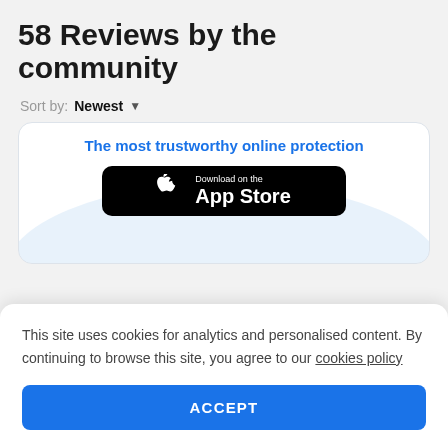58 Reviews by the community
Sort by: Newest
[Figure (screenshot): An advertisement box with blue text 'The most trustworthy online protection' and a black 'Download on the App Store' button, with a light blue arc background element.]
This site uses cookies for analytics and personalised content. By continuing to browse this site, you agree to our cookies policy
ACCEPT